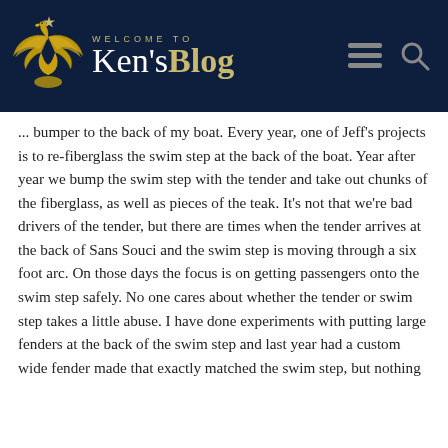WELCOME TO Ken'sBlog
... bumper to the back of my boat. Every year, one of Jeff's projects is to re-fiberglass the swim step at the back of the boat. Year after year we bump the swim step with the tender and take out chunks of the fiberglass, as well as pieces of the teak. It's not that we're bad drivers of the tender, but there are times when the tender arrives at the back of Sans Souci and the swim step is moving through a six foot arc. On those days the focus is on getting passengers onto the swim step safely. No one cares about whether the tender or swim step takes a little abuse. I have done experiments with putting large fenders at the back of the swim step and last year had a custom wide fender made that exactly matched the swim step, but nothing